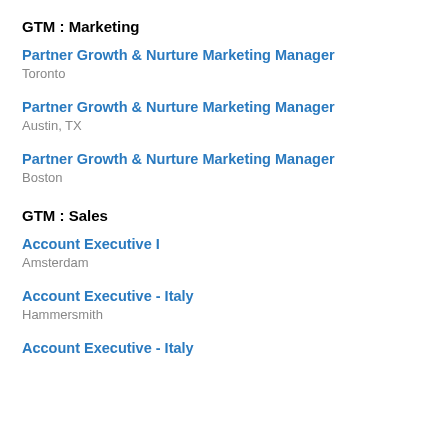GTM : Marketing
Partner Growth & Nurture Marketing Manager
Toronto
Partner Growth & Nurture Marketing Manager
Austin, TX
Partner Growth & Nurture Marketing Manager
Boston
GTM : Sales
Account Executive I
Amsterdam
Account Executive - Italy
Hammersmith
Account Executive - Italy